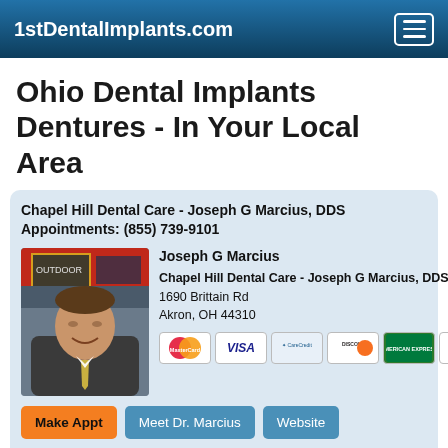1stDentalImplants.com
Ohio Dental Implants Dentures - In Your Local Area
Chapel Hill Dental Care - Joseph G Marcius, DDS
Appointments: (855) 739-9101
[Figure (photo): Photo of Dr. Joseph G Marcius, a middle-aged man in a suit smiling in front of a city background]
Joseph G Marcius
Chapel Hill Dental Care - Joseph G Marcius, DDS
1690 Brittain Rd
Akron, OH 44310
[Figure (other): Payment method icons: MasterCard, VISA, CareCredit, Discover, American Express, LendingClub]
Make Appt   Meet Dr. Marcius   Website
more info ...